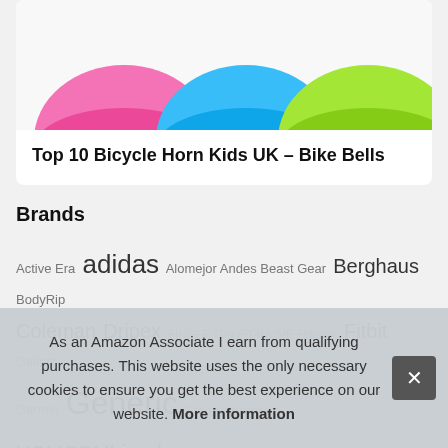[Figure (photo): Partial product image showing colorful circular objects (pink, blue, green) — bicycle bells/horns for kids]
Top 10 Bicycle Horn Kids UK – Bike Bells
Brands
Active Era adidas Alomejor Andes Beast Gear Berghaus BodyRip Coleman Dripex FINGER TEN FIT4HOME FitBeast Fitbit Gallant Garmin Generic Gritin Highlander HOMCOM Lixada Magi... Ni... Re... Ultras...
As an Amazon Associate I earn from qualifying purchases. This website uses the only necessary cookies to ensure you get the best experience on our website. More information